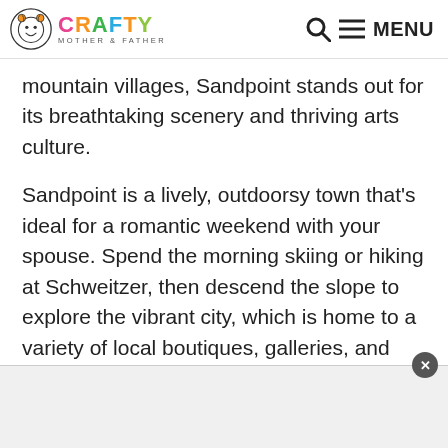Crafty Mother Father — MENU
mountain villages, Sandpoint stands out for its breathtaking scenery and thriving arts culture.
Sandpoint is a lively, outdoorsy town that's ideal for a romantic weekend with your spouse. Spend the morning skiing or hiking at Schweitzer, then descend the slope to explore the vibrant city, which is home to a variety of local boutiques, galleries, and chic cafés.
[Figure (other): Advertisement banner area with close button]